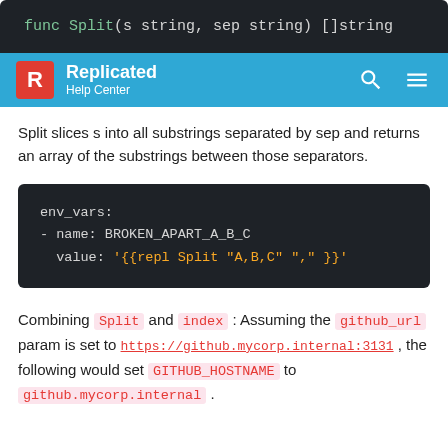[Figure (screenshot): Dark code block showing: func Split(s string, sep string) []string]
[Figure (screenshot): Replicated Help Center navigation bar with logo, search and menu icons]
Split slices s into all substrings separated by sep and returns an array of the substrings between those separators.
[Figure (screenshot): Dark code block showing YAML env_vars example with BROKEN_APART_A_B_C using repl Split template function]
Combining Split and index: Assuming the github_url param is set to https://github.mycorp.internal:3131, the following would set GITHUB_HOSTNAME to github.mycorp.internal.